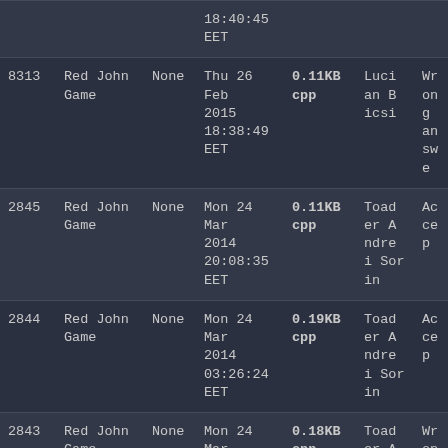| ID | Name | Tag | Date | Size/Type | User | Result |
| --- | --- | --- | --- | --- | --- | --- |
|  |  |  | 18:40:45 EET |  |  |  |
| 8313 | Red John Game | None | Thu 26 Feb 2015 18:38:49 EET | 0.11KB cpp | Lucian Bicsi | Wrong answe |
| 2845 | Red John Game | None | Mon 24 Mar 2014 20:08:35 EET | 0.11KB cpp | Toader Andrei Sorin | Accep |
| 2844 | Red John Game | None | Mon 24 Mar 2014 03:26:24 EET | 0.19KB cpp | Toader Andrei Sorin | Accep |
| 2843 | Red John Game | None | Mon 24 Mar 2014 | 0.18KB cpp | Toader Andre | Wrong answe |